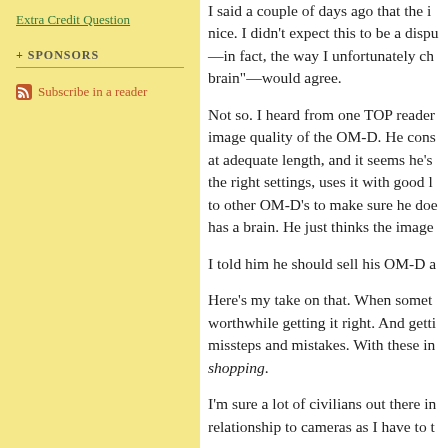Extra Credit Question
+ SPONSORS
Subscribe in a reader
I said a couple of days ago that the i nice. I didn't expect this to be a dispu —in fact, the way I unfortunately ch brain"—would agree.
Not so. I heard from one TOP reader image quality of the OM-D. He cons at adequate length, and it seems he's the right settings, uses it with good l to other OM-D's to make sure he doe has a brain. He just thinks the image
I told him he should sell his OM-D a
Here's my take on that. When somet worthwhile getting it right. And getti missteps and mistakes. With these in shopping.
I'm sure a lot of civilians out there in relationship to cameras as I have to t